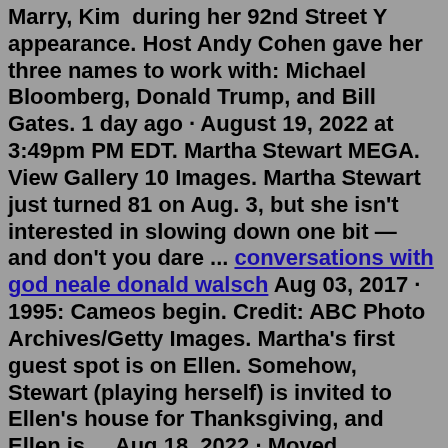Marry, Kim  during her 92nd Street Y appearance. Host Andy Cohen gave her three names to work with: Michael Bloomberg, Donald Trump, and Bill Gates. 1 day ago · August 19, 2022 at 3:49pm PM EDT. Martha Stewart MEGA. View Gallery 10 Images. Martha Stewart just turned 81 on Aug. 3, but she isn't interested in slowing down one bit — and don't you dare ... conversations with god neale donald walsch Aug 03, 2017 · 1995: Cameos begin. Credit: ABC Photo Archives/Getty Images. Martha's first guest spot is on Ellen. Somehow, Stewart (playing herself) is invited to Ellen's house for Thanksgiving, and Ellen is ... Aug 18, 2022 · Moved Permanently. Redirecting to https://www.marthastewart.com/sweepstakes/entry/win-martha-stewart-tumblers/8282022 Aug 18, 2022 · Moved Permanently. Redirecting to https://www.marthastewart.com/sweepstakes/entry/win-martha-stewart-tumblers/8282022 2 days ago · Martha Stewart just opened her first restaurant at 81 years old. The Bedford by Martha Stewart is in the